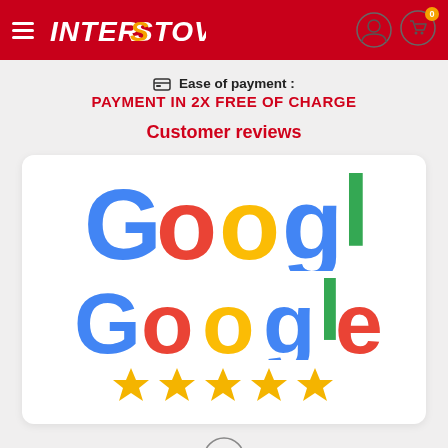INTERSTOVES navigation bar with hamburger menu, user icon, and cart icon (0 items)
Ease of payment :
PAYMENT IN 2X FREE OF CHARGE
Customer reviews
[Figure (logo): Google logo with five gold star rating below it, displayed in a white rounded card]
[Figure (other): Scroll-up arrow button (circle with upward arrow)]